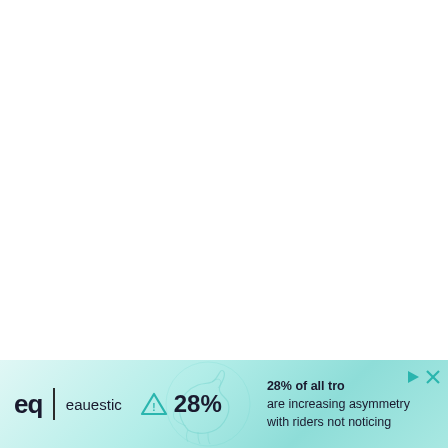[Figure (infographic): Advertisement banner for Equestic. Shows the Equestic logo (eq | eauestic), a triangle warning icon with '28%', and text reading '28% of all tro are increasing asymmetry with riders not noticing'. Has teal/mint gradient background with decorative horse illustration. Includes play and close controls in top right corner.]